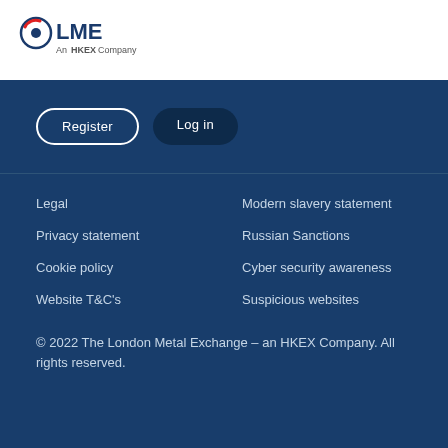[Figure (logo): LME - An HKEX Company logo with circular emblem in red and dark navy]
Register
Log in
Legal
Privacy statement
Cookie policy
Website T&C's
Modern slavery statement
Russian Sanctions
Cyber security awareness
Suspicious websites
© 2022 The London Metal Exchange – an HKEX Company. All rights reserved.